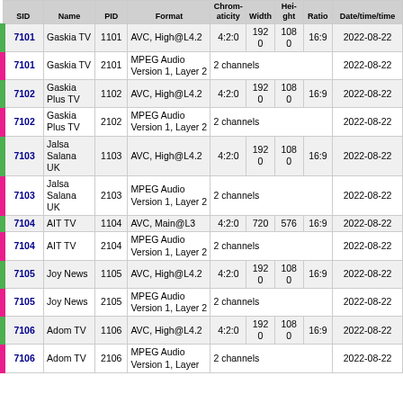| SID | Name | PID | Format | Chroma | Width | Height | Ratio | Date/time |
| --- | --- | --- | --- | --- | --- | --- | --- | --- |
| 7101 | Gaskia TV | 1101 | AVC, High@L4.2 | 4:2:0 | 1920 | 1080 | 16:9 | 2022-08-22 |
| 7101 | Gaskia TV | 2101 | MPEG Audio Version 1, Layer 2 | 2 channels |  |  |  | 2022-08-22 |
| 7102 | Gaskia Plus TV | 1102 | AVC, High@L4.2 | 4:2:0 | 1920 | 1080 | 16:9 | 2022-08-22 |
| 7102 | Gaskia Plus TV | 2102 | MPEG Audio Version 1, Layer 2 | 2 channels |  |  |  | 2022-08-22 |
| 7103 | Jalsa Salana UK | 1103 | AVC, High@L4.2 | 4:2:0 | 1920 | 1080 | 16:9 | 2022-08-22 |
| 7103 | Jalsa Salana UK | 2103 | MPEG Audio Version 1, Layer 2 | 2 channels |  |  |  | 2022-08-22 |
| 7104 | AIT TV | 1104 | AVC, Main@L3 | 4:2:0 | 720 | 576 | 16:9 | 2022-08-22 |
| 7104 | AIT TV | 2104 | MPEG Audio Version 1, Layer 2 | 2 channels |  |  |  | 2022-08-22 |
| 7105 | Joy News | 1105 | AVC, High@L4.2 | 4:2:0 | 1920 | 1080 | 16:9 | 2022-08-22 |
| 7105 | Joy News | 2105 | MPEG Audio Version 1, Layer 2 | 2 channels |  |  |  | 2022-08-22 |
| 7106 | Adom TV | 1106 | AVC, High@L4.2 | 4:2:0 | 1920 | 1080 | 16:9 | 2022-08-22 |
| 7106 | Adom TV | 2106 | MPEG Audio Version 1, Layer ... | 2 channels |  |  |  | 2022-08-22 |